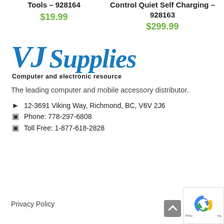Tools – 928164
$19.99
Control Quiet Self Charging – 928163
$299.99
[Figure (logo): VJ Supplies logo — blue italic serif text 'VJ Supplies' with tagline 'Computer and electronic resource']
The leading computer and mobile accessory distributor.
📍 12-3691 Viking Way, Richmond, BC, V6V 2J6
📱 Phone: 778-297-6808
📱 Toll Free: 1-877-618-2828
Privacy Policy